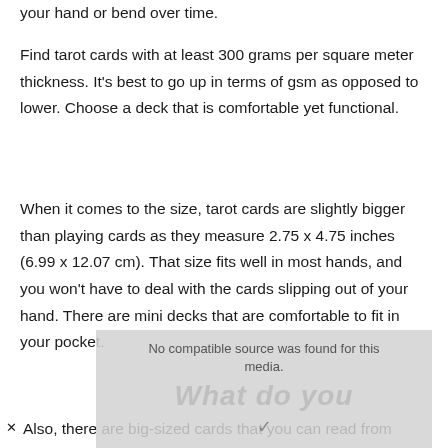your hand or bend over time.
Find tarot cards with at least 300 grams per square meter thickness. It's best to go up in terms of gsm as opposed to lower. Choose a deck that is comfortable yet functional.
When it comes to the size, tarot cards are slightly bigger than playing cards as they measure 2.75 x 4.75 inches (6.99 x 12.07 cm). That size fits well in most hands, and you won't have to deal with the cards slipping out of your hand. There are mini decks that are comfortable to fit in your pocket.
[Figure (screenshot): A media player overlay box showing 'No compatible source was found for this media.' with a watermark text 'What do you' and a play/arrow button, overlapping the body text.]
Also, there are big-sized cards that you can read from